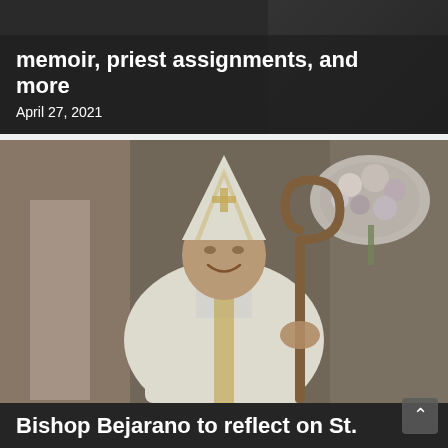memoir, priest assignments, and more
April 27, 2021
[Figure (photo): Bishop Bejarano in white vestments and mitre holding a crozier staff, standing in a church with floral arrangement in background]
Bishop Bejarano to reflect on St.